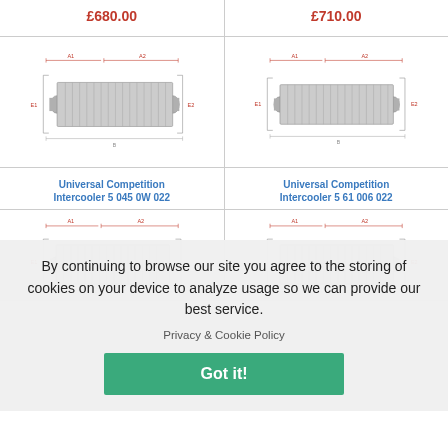£680.00
£710.00
[Figure (engineering-diagram): Technical diagram of a universal competition intercooler with dimension labels A1, A2, E1, E2 shown in red. The intercooler has a rectangular core with end tanks and inlet/outlet pipes.]
[Figure (engineering-diagram): Technical diagram of a second universal competition intercooler with dimension labels A1, A2, E1, E2 shown in red. Slightly wider form factor.]
Universal Competition Intercooler 5 045 0W 022
Universal Competition Intercooler 5 61 006 022
By continuing to browse our site you agree to the storing of cookies on your device to analyze usage so we can provide our best service.
Privacy & Cookie Policy
Got it!
[Figure (engineering-diagram): Partial technical diagram of another intercooler (cropped at bottom of page).]
[Figure (engineering-diagram): Partial technical diagram of another intercooler (cropped at bottom of page, right column).]